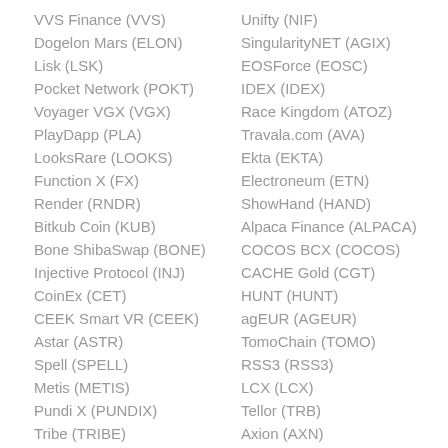VVS Finance (VVS)
Dogelon Mars (ELON)
Lisk (LSK)
Pocket Network (POKT)
Voyager VGX (VGX)
PlayDapp (PLA)
LooksRare (LOOKS)
Function X (FX)
Render (RNDR)
Bitkub Coin (KUB)
Bone ShibaSwap (BONE)
Injective Protocol (INJ)
CoinEx (CET)
CEEK Smart VR (CEEK)
Astar (ASTR)
Spell (SPELL)
Metis (METIS)
Pundi X (PUNDIX)
Tribe (TRIBE)
Unifty (NIF)
SingularityNET (AGIX)
EOSForce (EOSC)
IDEX (IDEX)
Race Kingdom (ATOZ)
Travala.com (AVA)
Ekta (EKTA)
Electroneum (ETN)
ShowHand (HAND)
Alpaca Finance (ALPACA)
COCOS BCX (COCOS)
CACHE Gold (CGT)
HUNT (HUNT)
agEUR (AGEUR)
TomoChain (TOMO)
RSS3 (RSS3)
LCX (LCX)
Tellor (TRB)
Axion (AXN)